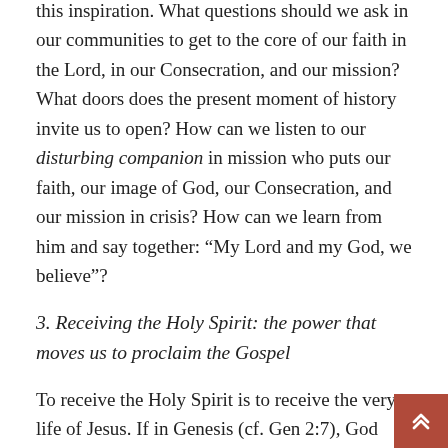this inspiration. What questions should we ask in our communities to get to the core of our faith in the Lord, in our Consecration, and our mission? What doors does the present moment of history invite us to open? How can we listen to our disturbing companion in mission who puts our faith, our image of God, our Consecration, and our mission in crisis? How can we learn from him and say together: “My Lord and my God, we believe”?
3. Receiving the Holy Spirit: the power that moves us to proclaim the Gospel
To receive the Holy Spirit is to receive the very life of Jesus. If in Genesis (cf. Gen 2:7), God breathes into the nostrils to give life, this also happens within the community of disciples. In his breath, Jesus communicates his paschal mystery as the source and origin of the